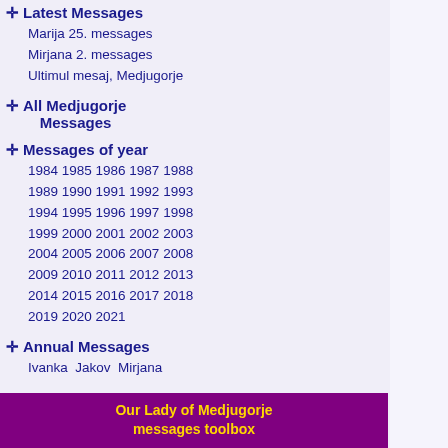+ Latest Messages
Marija 25. messages
Mirjana 2. messages
Ultimul mesaj, Medjugorje
+ All Medjugorje Messages
+ Messages of year
1984 1985 1986 1987 1988 1989 1990 1991 1992 1993 1994 1995 1996 1997 1998 1999 2000 2001 2002 2003 2004 2005 2006 2007 2008 2009 2010 2011 2012 2013 2014 2015 2016 2017 2018 2019 2020 2021
+ Annual Messages
Ivanka Jakov Mirjana
+ Messages search
+ The messages list
+ Messages by month
Ianuarie  Februarie  Martie  Aprilie  Mai  Iunie  Iulie  August  Septembrie  Octombrie  Noiembrie  Decembrie
Our Lady of Medjugorje messages toolbox